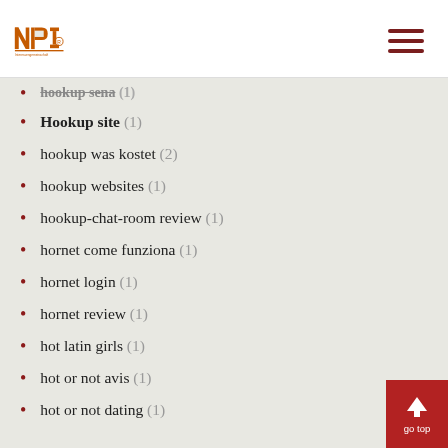INP logo and navigation
hookup sena (1)
Hookup site (1)
hookup was kostet (2)
hookup websites (1)
hookup-chat-room review (1)
hornet come funziona (1)
hornet login (1)
hornet review (1)
hot latin girls (1)
hot or not avis (1)
hot or not dating (1)